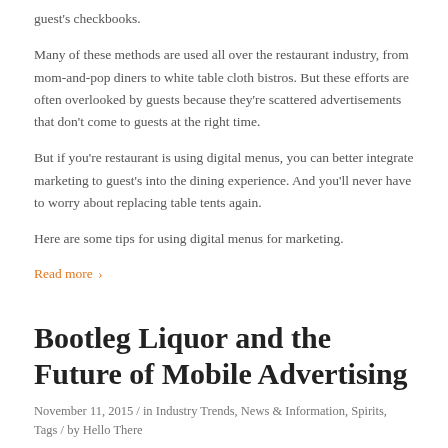guest's checkbooks.
Many of these methods are used all over the restaurant industry, from mom-and-pop diners to white table cloth bistros. But these efforts are often overlooked by guests because they're scattered advertisements that don't come to guests at the right time.
But if you're restaurant is using digital menus, you can better integrate marketing to guest's into the dining experience. And you'll never have to worry about replacing table tents again.
Here are some tips for using digital menus for marketing.
Read more ›
Bootleg Liquor and the Future of Mobile Advertising
November 11, 2015 / in Industry Trends, News & Information, Spirits, Tags / by Hello There